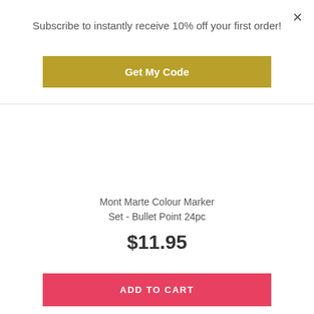×
Subscribe to instantly receive 10% off your first order!
Get My Code
Mont Marte Colour Marker Set - Bullet Point 24pc
$11.95
ADD TO CART